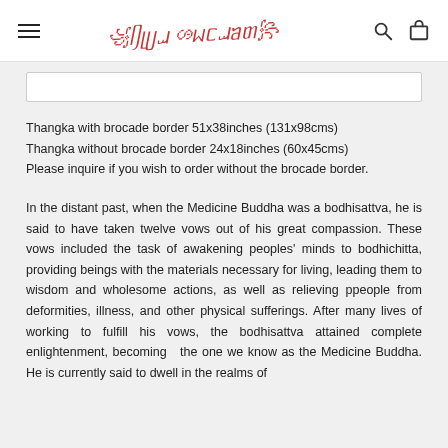≡  [Tibetan script logo]  🔍  🛒
Thangka with brocade border 51x38inches (131x98cms)
Thangka without brocade border 24x18inches (60x45cms)
Please inquire if you wish to order without the brocade border.
In the distant past, when the Medicine Buddha was a bodhisattva, he is said to have taken twelve vows out of his great compassion. These vows included the task of awakening peoples' minds to bodhichitta, providing beings with the materials necessary for living, leading them to wisdom and wholesome actions, as well as relieving people from deformities, illness, and other physical sufferings. After many lives of working to fulfill his vows, the bodhisattva attained complete enlightenment, becoming  the one we know as the Medicine Buddha. He is currently said to dwell in the realms of